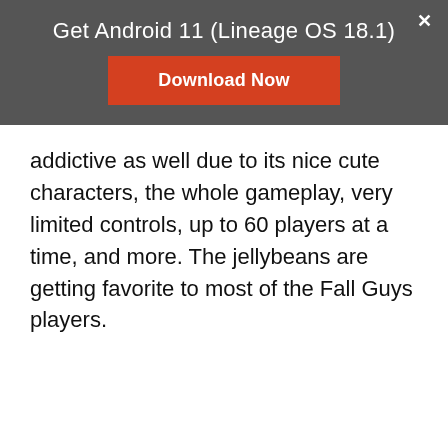Get Android 11 (Lineage OS 18.1)
Download Now
addictive as well due to its nice cute characters, the whole gameplay, very limited controls, up to 60 players at a time, and more. The jellybeans are getting favorite to most of the Fall Guys players.